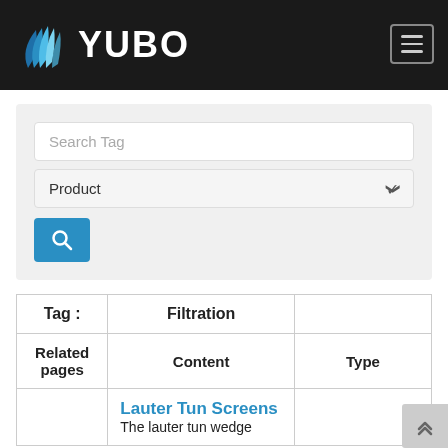[Figure (logo): YUBO logo with blue fan/leaf icon and white text on black header]
Search Tag
Product
| Tag : | Filtration |  |
| --- | --- | --- |
| Related pages | Content | Type |
|  | Lauter Tun Screens
The lauter tun wedge |  |